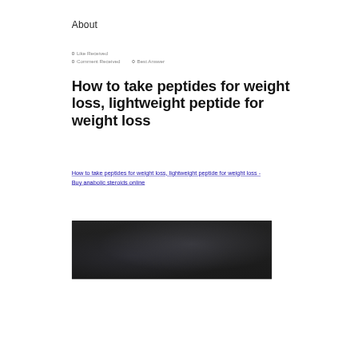About
0 Like Received
0 Comment Received    0 Best Answer
How to take peptides for weight loss, lightweight peptide for weight loss
How to take peptides for weight loss, lightweight peptide for weight loss - Buy anabolic steroids online
[Figure (photo): Dark blurred image, appears to be a dark background with indistinct shapes]